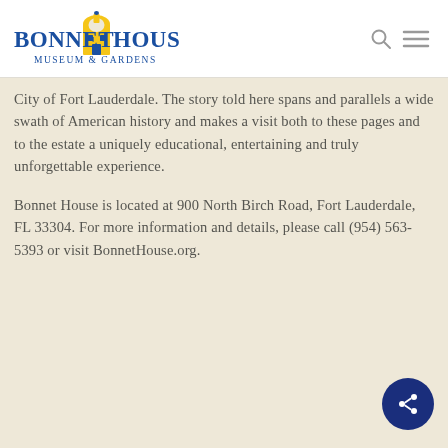Bonnet House Museum & Gardens
City of Fort Lauderdale. The story told here spans and parallels a wide swath of American history and makes a visit both to these pages and to the estate a uniquely educational, entertaining and truly unforgettable experience.
Bonnet House is located at 900 North Birch Road, Fort Lauderdale, FL 33304. For more information and details, please call (954) 563-5393 or visit BonnetHouse.org.